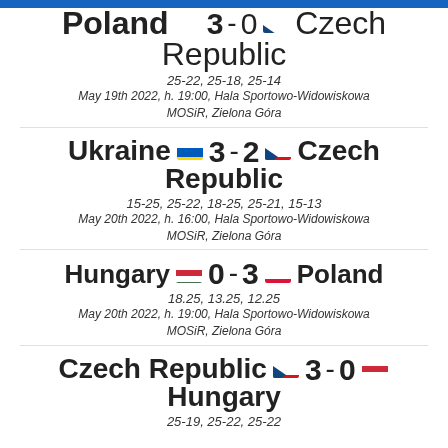Poland 3 - 0 Czech Republic
25-22, 25-18, 25-14
May 19th 2022, h. 19:00, Hala Sportowo-Widowiskowa MOSiR, Zielona Góra
Ukraine 3 - 2 Czech Republic
15-25, 25-22, 18-25, 25-21, 15-13
May 20th 2022, h. 16:00, Hala Sportowo-Widowiskowa MOSiR, Zielona Góra
Hungary 0 - 3 Poland
18.25, 13.25, 12.25
May 20th 2022, h. 19:00, Hala Sportowo-Widowiskowa MOSiR, Zielona Góra
Czech Republic 3 - 0 Hungary
25-19, 25-22, 25-22